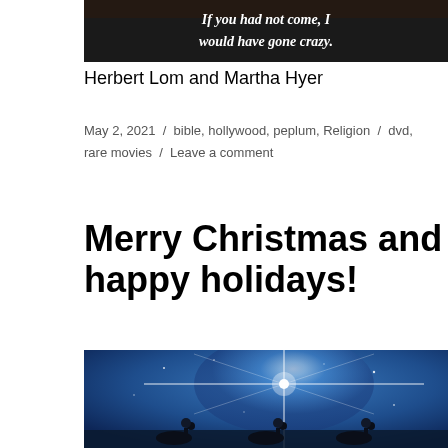[Figure (screenshot): Black background image with white italic bold text reading: 'If you had not come, I would have gone crazy.']
Herbert Lom and Martha Hyer
May 2, 2021 / bible, hollywood, peplum, Religion / dvd, rare movies / Leave a comment
Merry Christmas and happy holidays!
[Figure (photo): Blue night sky with a bright star of Bethlehem shining with light rays, and dark silhouettes of figures (three wise men) on camels at the bottom.]